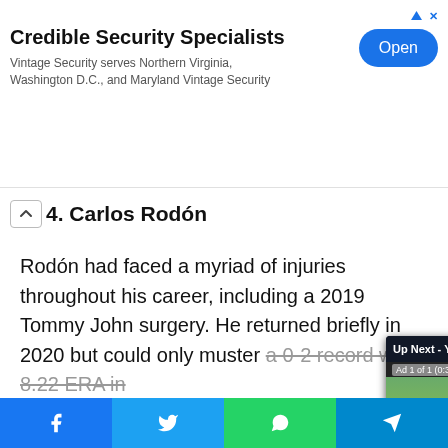[Figure (screenshot): Advertisement banner for Credible Security Specialists / Vintage Security with an Open button]
4. Carlos Rodón
Rodón had faced a myriad of injuries throughout his career, including a 2019 Tommy John surgery. He returned briefly in 2020 but could only muster a 0-2 record with 8.22 ERA in 7 2/3 innings. In the... tendered by the Wh... looked to be at a cr... signed with the Wh...
[Figure (screenshot): Video overlay: Up Next - Yoán Moncada's RBI double to... showing a baseball game scene with ad banners for xfinity mobile]
[Figure (screenshot): Social share bar with Facebook, Twitter, WhatsApp, and Telegram buttons]